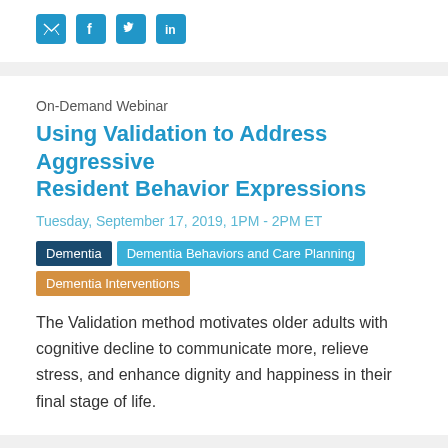[Figure (other): Social media sharing icons: email, Facebook, Twitter, LinkedIn in blue rounded square buttons]
On-Demand Webinar
Using Validation to Address Aggressive Resident Behavior Expressions
Tuesday, September 17, 2019, 1PM - 2PM ET
Dementia | Dementia Behaviors and Care Planning | Dementia Interventions
The Validation method motivates older adults with cognitive decline to communicate more, relieve stress, and enhance dignity and happiness in their final stage of life.